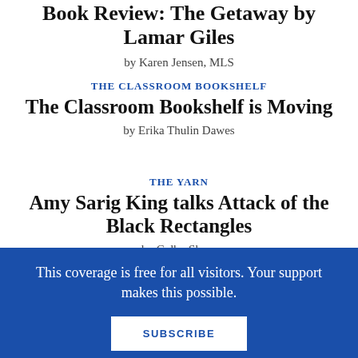Book Review: The Getaway by Lamar Giles
by Karen Jensen, MLS
THE CLASSROOM BOOKSHELF
The Classroom Bookshelf is Moving
by Erika Thulin Dawes
THE YARN
Amy Sarig King talks Attack of the Black Rectangles
by Colby Sharp
This coverage is free for all visitors. Your support makes this possible.
SUBSCRIBE